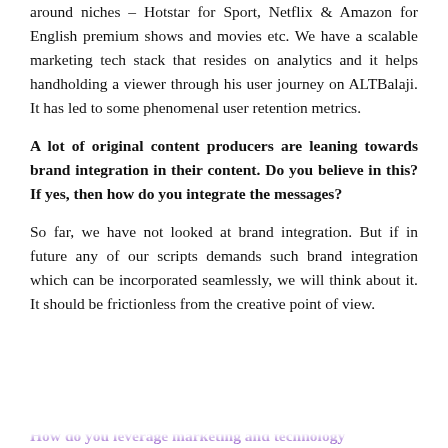around niches – Hotstar for Sport, Netflix & Amazon for English premium shows and movies etc. We have a scalable marketing tech stack that resides on analytics and it helps handholding a viewer through his user journey on ALTBalaji. It has led to some phenomenal user retention metrics.
A lot of original content producers are leaning towards brand integration in their content. Do you believe in this? If yes, then how do you integrate the messages?
So far, we have not looked at brand integration. But if in future any of our scripts demands such brand integration which can be incorporated seamlessly, we will think about it. It should be frictionless from the creative point of view.
How do you leverage marketing and technology